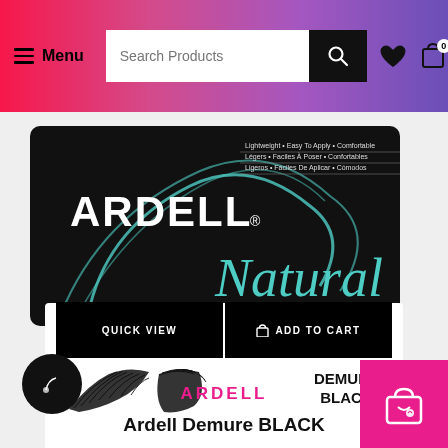Menu | Search Products | [heart icon] [cart icon]
[Figure (photo): Ardell Natural Demure Black false eyelashes product package showing logo, decorative swirl design, and eyelash display]
QUICK VIEW
ADD TO CART
ARDELL
Ardell Demure BLACK